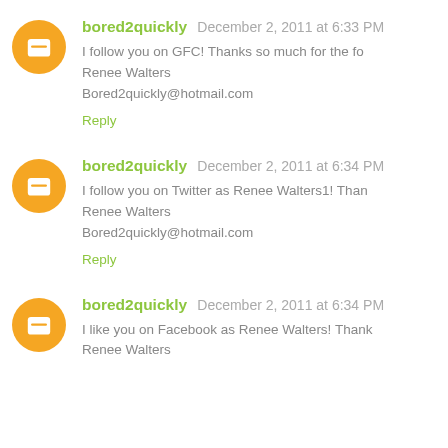bored2quickly December 2, 2011 at 6:33 PM
I follow you on GFC! Thanks so much for the fo
Renee Walters
Bored2quickly@hotmail.com
Reply
bored2quickly December 2, 2011 at 6:34 PM
I follow you on Twitter as Renee Walters1! Than
Renee Walters
Bored2quickly@hotmail.com
Reply
bored2quickly December 2, 2011 at 6:34 PM
I like you on Facebook as Renee Walters! Thank
Renee Walters